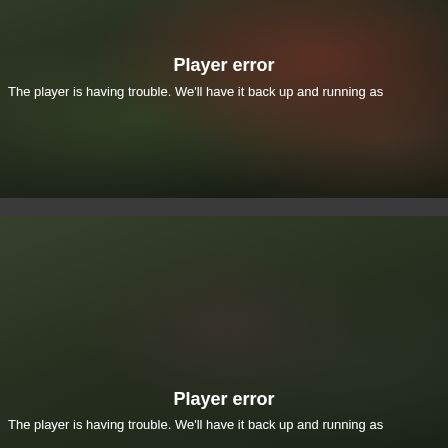[Figure (screenshot): Video player error screen showing baseball players in red uniforms at a park field. Text overlay reads 'Player error' and 'The player is having trouble. We'll have it back up and running as']
[Figure (screenshot): Second video player error screen showing a person wearing a blue face mask and sunglasses at a baseball field. Text overlay reads 'Player error' and 'The player is having trouble. We'll have it back up and running as']